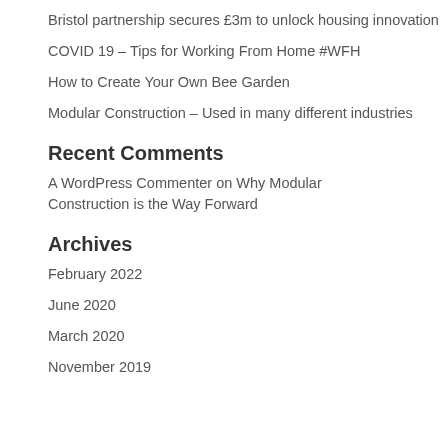Bristol partnership secures £3m to unlock housing innovation
COVID 19 – Tips for Working From Home #WFH
How to Create Your Own Bee Garden
Modular Construction – Used in many different industries
Recent Comments
A WordPress Commenter on Why Modular Construction is the Way Forward
Archives
February 2022
June 2020
March 2020
November 2019